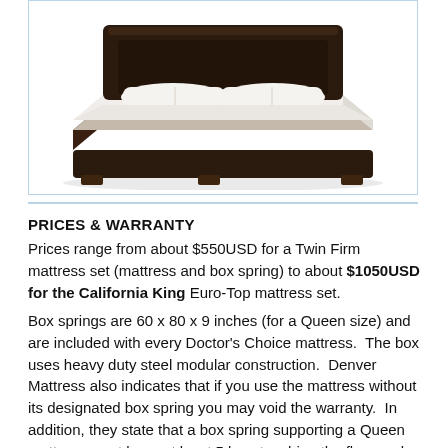[Figure (illustration): A bed with dark brown wooden frame, white mattress and pillows, viewed from a perspective angle. The bed appears to be a platform-style bed.]
PRICES & WARRANTY
Prices range from about $550USD for a Twin Firm mattress set (mattress and box spring) to about $1050USD for the California King Euro-Top mattress set.
Box springs are 60 x 80 x 9 inches (for a Queen size) and are included with every Doctor’s Choice mattress.  The box uses heavy duty steel modular construction.  Denver Mattress also indicates that if you use the mattress without its designated box spring you may void the warranty.  In addition, they state that a box spring supporting a Queen mattress must have at least 5 legs touching the floor and a King mattress must have at least 6.  If you do not ensure this it too may void your warranty.